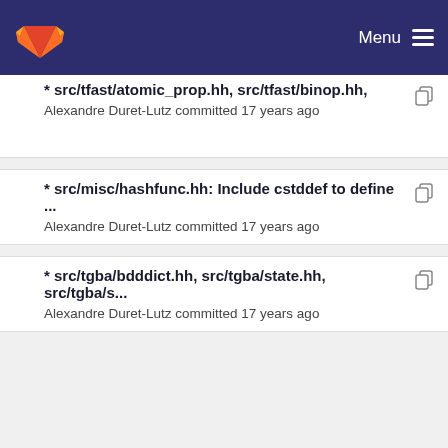Menu
* src/tfast/atomic_prop.hh, src/tfast/binop.hh, Alexandre Duret-Lutz committed 17 years ago
* src/misc/hashfunc.hh: Include cstddef to define ... Alexandre Duret-Lutz committed 17 years ago
* src/tgba/bdddict.hh, src/tgba/state.hh, src/tgba/s... Alexandre Duret-Lutz committed 17 years ago